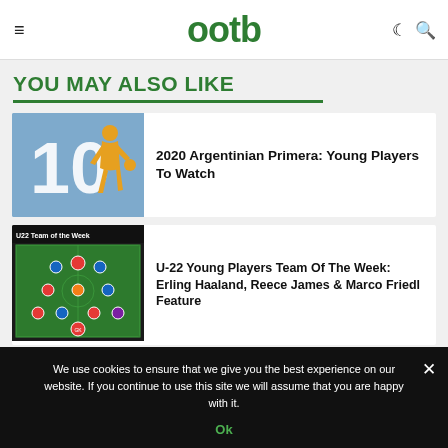ootb
YOU MAY ALSO LIKE
[Figure (illustration): Blue square icon with a gold/yellow number 10 and a soccer player silhouette dribbling a ball]
2020 Argentinian Primera: Young Players To Watch
[Figure (screenshot): U22 Team of the Week graphic showing a football pitch formation with player icons]
U-22 Young Players Team Of The Week: Erling Haaland, Reece James & Marco Friedl Feature
We use cookies to ensure that we give you the best experience on our website. If you continue to use this site we will assume that you are happy with it.
Ok